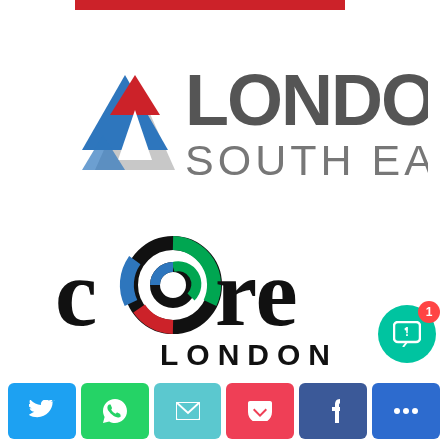[Figure (logo): London South East logo with geometric diamond/mountain shape in red, blue, and grey, next to bold grey text 'LONDON SOUTH EAST']
[Figure (logo): Core London logo with stylized 'core' lettering where the 'o' contains a circular icon in green, red and blue colors, with 'LONDON' in bold black below]
[Figure (other): Share buttons row: Twitter (blue), WhatsApp (green), Email (teal), Pocket (red), Facebook (dark blue), and a partially visible blue button, plus a teal chat bubble with notification badge showing '1']